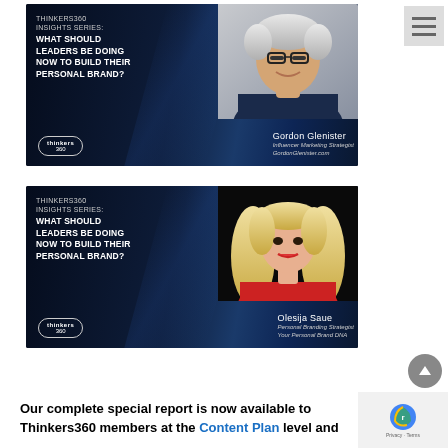[Figure (infographic): Thinkers360 Insights Series card featuring Gordon Glenister, Influencer Marketing Strategist. Dark background with blue diagonal light bands. Text reads: THINKERS360 INSIGHTS SERIES: WHAT SHOULD LEADERS BE DOING NOW TO BUILD THEIR PERSONAL BRAND? Thinkers 360 logo. Photo of Gordon Glenister. Name and title: Gordon Glenister, Influencer Marketing Strategist, GordonGlenister.com]
[Figure (infographic): Thinkers360 Insights Series card featuring Olesija Saue, Personal Branding Strategist. Dark background with blue diagonal light bands. Text reads: THINKERS360 INSIGHTS SERIES: WHAT SHOULD LEADERS BE DOING NOW TO BUILD THEIR PERSONAL BRAND? Thinkers 360 logo. Photo of Olesija Saue. Name and title: Olesija Saue, Personal Branding Strategist, Your Personal Brand DNA]
Our complete special report is now available to Thinkers360 members at the Content Plan level and